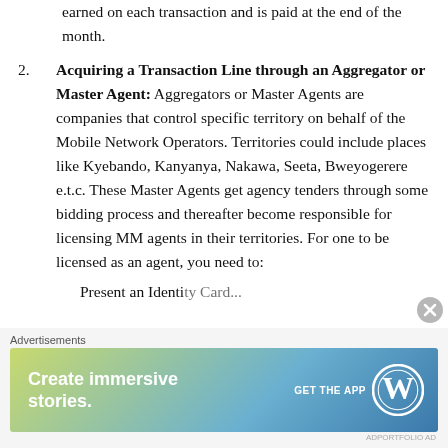earned on each transaction and is paid at the end of the month.
2. Acquiring a Transaction Line through an Aggregator or Master Agent: Aggregators or Master Agents are companies that control specific territory on behalf of the Mobile Network Operators. Territories could include places like Kyebando, Kanyanya, Nakawa, Seeta, Bweyogerere e.t.c. These Master Agents get agency tenders through some bidding process and thereafter become responsible for licensing MM agents in their territories. For one to be licensed as an agent, you need to:
Present an Identity Card...
[Figure (other): Advertisement banner: 'Create immersive stories. GET THE APP' with WordPress logo, on a gradient blue-green background.]